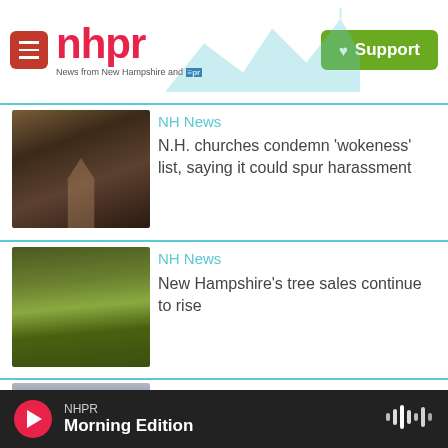nhpr — News from New Hampshire and NPR | Support
NH News
N.H. churches condemn 'wokeness' list, saying it could spur harassment
[Figure (photo): Interior of a church with arched windows and wooden beams, with light streaming in]
NH News
New Hampshire's tree sales continue to rise
[Figure (photo): Aerial view of dense green trees/foliage]
NH News
A new law aims to boost N.H.'s housing market. Here's what it means for zoning and more
[Figure (photo): Green house exterior with white trim windows and grey roof]
NHPR — Morning Edition